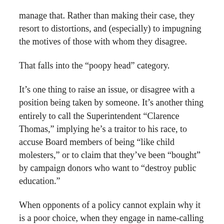manage that. Rather than making their case, they resort to distortions, and (especially) to impugning the motives of those with whom they disagree.
That falls into the “poopy head” category.
It’s one thing to raise an issue, or disagree with a position being taken by someone. It’s another thing entirely to call the Superintendent “Clarence Thomas,” implying he’s a traitor to his race, to accuse Board members of being “like child molesters,” or to claim that they’ve been “bought” by campaign donors who want to “destroy public education.”
When opponents of a policy cannot explain why it is a poor choice, when they engage in name-calling rather than factual discourse, they aren’t entitled to be taken seriously.
Can’t we please acknowledge that reasonable, well-meaning people–nice people who are acting in good faith–